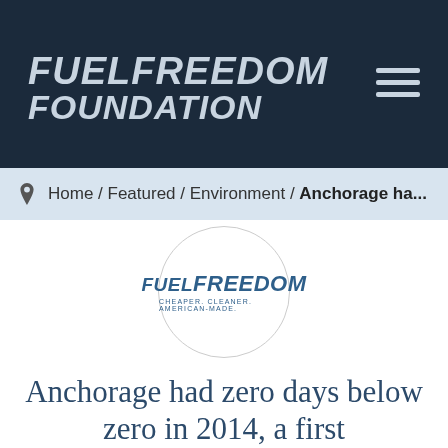[Figure (logo): Fuel Freedom Foundation website header logo with dark navy background, showing 'FUEL FREEDOM FOUNDATION' in italic bold grey text, with a hamburger menu icon on the right]
Home / Featured / Environment / Anchorage ha...
[Figure (logo): Fuel Freedom circular logo with white background, showing 'FUEL FREEDOM' in blue italic bold text with tagline 'CHEAPER. CLEANER. AMERICAN-MADE.']
Anchorage had zero days below zero in 2014, a first
January 5, 2015
Climate experts are worried about a strange trend in the largest U.S. state: During all of 2014, the city